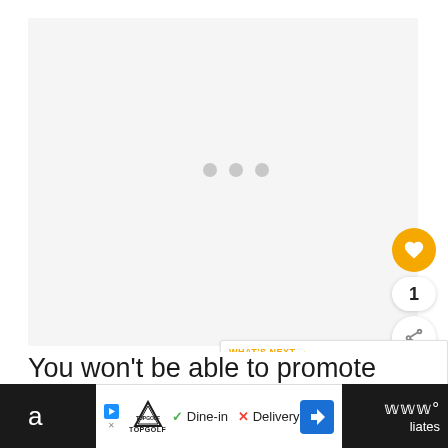[Figure (screenshot): Loading placeholder area with three gray dots centered on a light gray background]
[Figure (infographic): Yellow heart/like button (circular, gold), count badge showing '1', and circular share button with share icon]
[Figure (screenshot): What's Next card with orange arrow label, thumbnail image, and text 'How to Become an...']
You won't be able to promote your p... massively on your own as you can with
[Figure (screenshot): Bottom advertisement bar: Topgolf logo, checkmark Dine-in, X Delivery, blue navigation diamond icon. Dark strip on sides with partial text.]